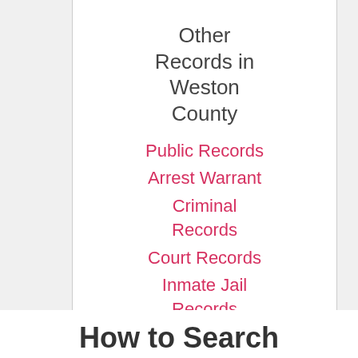Other Records in Weston County
Public Records
Arrest Warrant
Criminal Records
Court Records
Inmate Jail Records
Marriage Records
How to Search